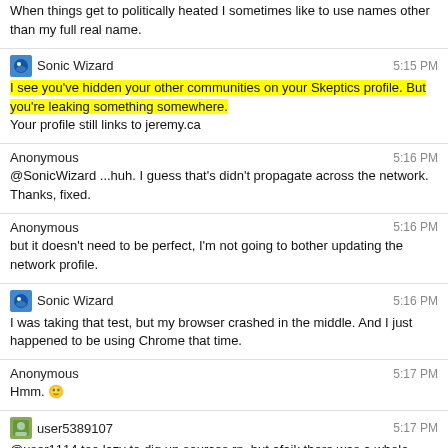When things get to politically heated I sometimes like to use names other than my full real name.
Sonic Wizard 5:15 PM
I see you've hidden your other communities on your Skeptics profile. But you're leaking something somewhere.
Your profile still links to jeremy.ca
Anonymous 5:16 PM
@SonicWizard ...huh. I guess that's didn't propagate across the network. Thanks, fixed.
Anonymous 5:16 PM
but it doesn't need to be perfect, I'm not going to bother updating the network profile.
Sonic Wizard 5:16 PM
I was taking that test, but my browser crashed in the middle. And I just happened to be using Chrome that time.
Anonymous 5:17 PM
Hmm. 🙂
user5389107 5:17 PM
@user1114 too lazy to dig up sources rn, but afaik there was a whole spiel about it being worthless and the concept being flawed
Sonic Wizard 5:17 PM
I guess that's why I was more emotional about my distaste for Chrome just now.